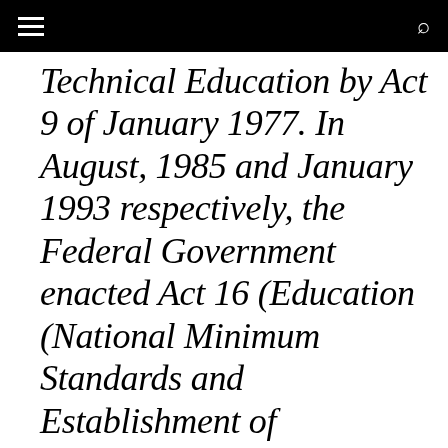[hamburger menu] [search icon]
Technical Education by Act 9 of January 1977. In August, 1985 and January 1993 respectively, the Federal Government enacted Act 16 (Education (National Minimum Standards and Establishment of